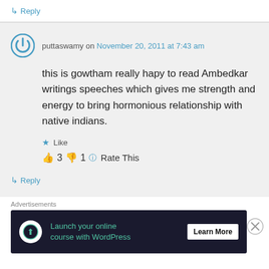↳ Reply
puttaswamy on November 20, 2011 at 7:43 am
this is gowtham really hapy to read Ambedkar writings speeches which gives me strength and energy to bring hormonious relationship with native indians.
★ Like
👍 3 👎 1 🔵 Rate This
↳ Reply
Advertisements
[Figure (other): Advertisement banner: dark background with cloud/upload icon, text 'Launch your online course with WordPress', and 'Learn More' button]